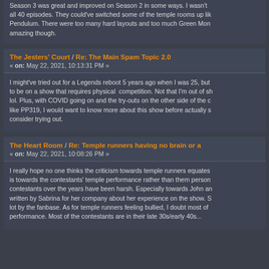Season 3 was great and improved on Season 2 in some ways. I wasn't all 40 episodes. They could've switched some of the temple rooms up lik Pendulum. There were too many hard layouts and too much Green Mon amazing though.
The Jesters' Court / Re: The Main Spam Topic 2.0
« on: May 22, 2021, 10:13:31 PM »
I might've tried out for a Legends reboot 5 years ago when I was 25, but to be on a show that requires physical competition. Not that I'm out of s lol. Plus, with COVID going on and the try-outs on the other side of the c like PP319, I would want to know more about this show before actually s consider trying out.
The Heart Room / Re: Temple runners having no brain or a
« on: May 22, 2021, 10:08:26 PM »
I really hope no one thinks the criticism towards temple runners equates is towards the contestants' temple performance rather than them perso contestants over the years have been harsh. Especially towards John a written by Sabrina for her company about her experience on the show. S lot by the fanbase. As for temple runners feeling bullied, I doubt most of performance. Most of the contestants are in their late 30s/early 40s...